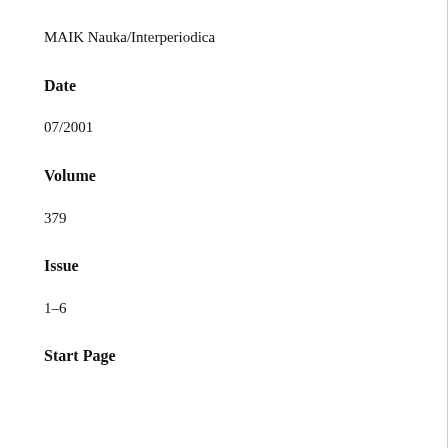MAIK Nauka/Interperiodica
Date
07/2001
Volume
379
Issue
1–6
Start Page